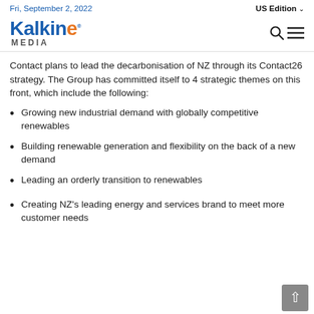Fri, September 2, 2022 | US Edition
[Figure (logo): Kalkine Media logo — blue text 'Kalkin' with orange 'e', 'MEDIA' in grey below, search and hamburger icons on the right]
Contact plans to lead the decarbonisation of NZ through its Contact26 strategy. The Group has committed itself to 4 strategic themes on this front, which include the following:
Growing new industrial demand with globally competitive renewables
Building renewable generation and flexibility on the back of a new demand
Leading an orderly transition to renewables
Creating NZ's leading energy and services brand to meet more customer needs